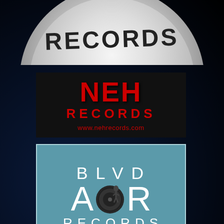[Figure (logo): Partial chrome/silver circular badge or button with text 'RECORDS' visible at top, cut off at top of image]
[Figure (logo): NEH Records logo on black background: large red block letters 'NEH' above 'RECORDS' in red, with website www.nehrecords.com in red below]
[Figure (logo): BLVD AOR Records logo on teal/steel-blue square background with white border: 'BLVD' in thin white letters, 'AOR' in large white letters with vinyl record replacing the O, 'RECORDS' in thin white letters below]